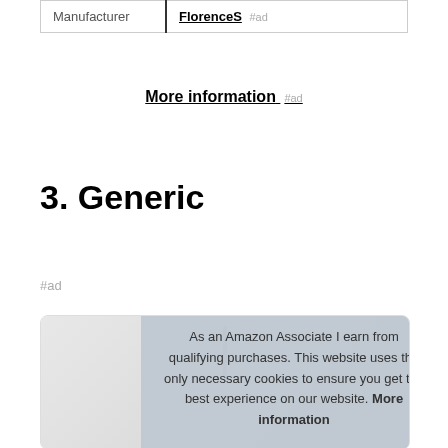| Manufacturer | FlorenceS #ad |
| --- | --- |
| Manufacturer | FlorenceS #ad |
More information #ad
3. Generic
#ad
[Figure (photo): Product image area with cookie consent overlay banner]
As an Amazon Associate I earn from qualifying purchases. This website uses the only necessary cookies to ensure you get the best experience on our website. More information